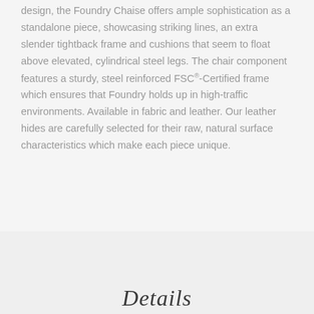design, the Foundry Chaise offers ample sophistication as a standalone piece, showcasing striking lines, an extra slender tightback frame and cushions that seem to float above elevated, cylindrical steel legs. The chair component features a sturdy, steel reinforced FSC®-Certified frame which ensures that Foundry holds up in high-traffic environments. Available in fabric and leather. Our leather hides are carefully selected for their raw, natural surface characteristics which make each piece unique.
Details